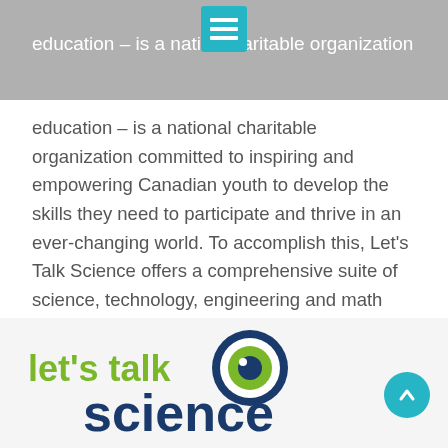education – is a national charitable organization committed to inspiring and empowering Canadian youth to develop the skills they need to participate and thrive in an ever-changing world. To accomplish this, Let's Talk Science offers a comprehensive suite of science, technology, engineering and math (STEM) based programs to support youth, educators, and volunteers across Canada. For more information about Let's Talk Science, visit letstalkscience.ca.
[Figure (logo): Let's Talk Science logo with green text 'let's talk' and dark blue text 'science' with a stylized eye graphic]